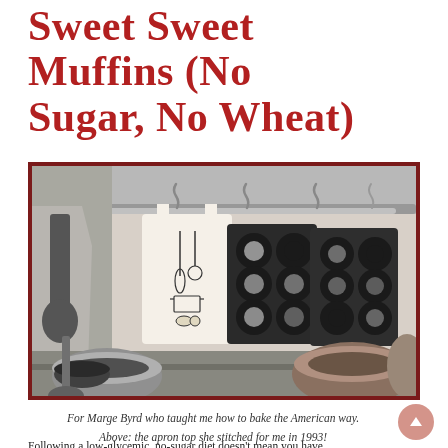Sweet Sweet Muffins (No Sugar, No Wheat)
[Figure (photo): Kitchen scene showing two dark muffin tins hanging on S-hooks from a wall-mounted rail, with batter or ingredients in the cups. A decorative apron hangs in the background along with cooking utensils including a ladle. Metal bowls and pots are visible in the foreground.]
For Marge Byrd who taught me how to bake the American way. Above: the apron top she stitched for me in 1993!
Following a low-glycemic, no-sugar diet doesn't mean you have